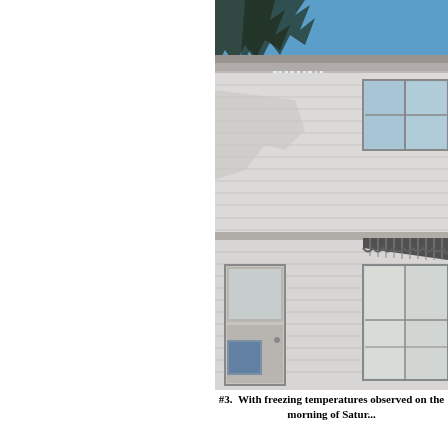[Figure (photo): Photograph of a two-story white house with large icicles hanging from the roof gutters. Blue sky visible at top, bare tree branches silhouetted against sky. House has white siding, windows, and a front door. An awning is visible on the right side over a lower window.]
#3.  With freezing temperatures observed on the morning of Satur... of d...